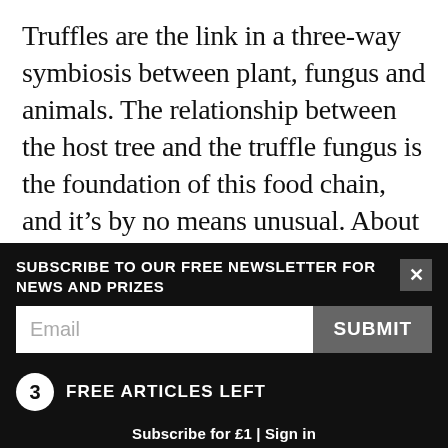Truffles are the link in a three-way symbiosis between plant, fungus and animals. The relationship between the host tree and the truffle fungus is the foundation of this food chain, and it’s by no means unusual. About 90 per cent of all plant species have to grow in association with fungi. The “body” of fungi consists of extremely fine tubes called hyphae. These extend out from the plant roots into all the fine spaces in the soil, vastly improving the plant’s ability to access nutrients. One gram of soil can contain up to 20 metres of hyphae. On a young pine tree about
SUBSCRIBE TO OUR FREE NEWSLETTER FOR NEWS AND PRIZES
Email
SUBMIT
3 FREE ARTICLES LEFT
Subscribe for £1 | Sign in